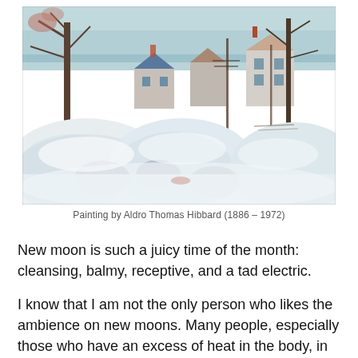[Figure (illustration): Winter landscape painting showing snow-covered ground with rocks and buildings partially buried in snow, bare trees, and a body of water visible in the background. Painted in an impressionist style with whites, blues, and earth tones.]
Painting by Aldro Thomas Hibbard (1886 – 1972)
New moon is such a juicy time of the month: cleansing, balmy, receptive, and a tad electric.
I know that I am not the only person who likes the ambience on new moons. Many people, especially those who have an excess of heat in the body, in the emotions,